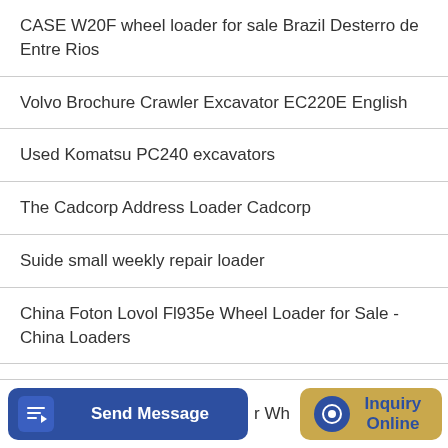CASE W20F wheel loader for sale Brazil Desterro de Entre Rios
Volvo Brochure Crawler Excavator EC220E English
Used Komatsu PC240 excavators
The Cadcorp Address Loader Cadcorp
Suide small weekly repair loader
China Foton Lovol Fl935e Wheel Loader for Sale - China Loaders
China Lonking Loader Video
[Figure (screenshot): Bottom toolbar with Send Message button (blue), partial text 'r Wh', chat icon circle (blue), and Inquiry Online button (gold/tan)]